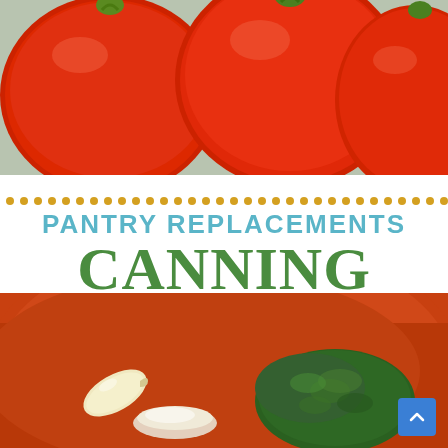[Figure (photo): Close-up photo of fresh red tomatoes on a light surface]
PANTRY REPLACEMENTS
CANNING PIZZA SAUCE
easy step by step
[Figure (photo): Bowl with tomato sauce base, a garlic clove, salt, and dried herbs]